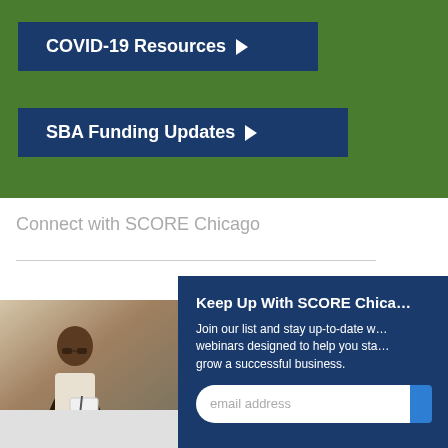[Figure (screenshot): Green banner background section at the top of the page]
COVID-19 Resources ▶
SBA Funding Updates ▶
Connect with SCORE Chicago
Keep Up With SCORE Chica…
Join our list and stay up-to-date w… webinars designed to help you sta… grow a successful business.
email address
[Figure (photo): Photo of a Black woman wearing glasses and an apron, writing on a notepad, in a kitchen setting]
ALL
Black Entrepreneurs